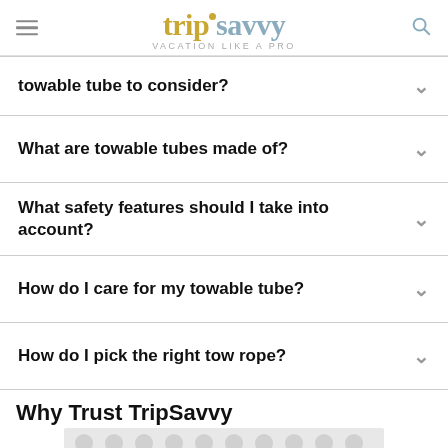trip savvy VACATION LIKE A PRO
towable tube to consider?
What are towable tubes made of?
What safety features should I take into account?
How do I care for my towable tube?
How do I pick the right tow rope?
Why Trust TripSavvy
[Figure (other): Advertisement placeholder with circular pattern]